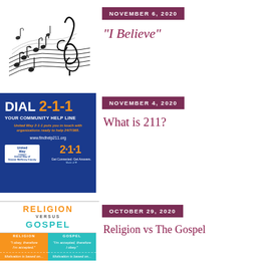[Figure (illustration): Musical notes and treble clef illustration with flowing staff lines]
[Figure (other): Date badge reading NOVEMBER 6, 2020 in dark magenta/purple background]
“I Believe”
[Figure (infographic): Dial 2-1-1 Your Community Help Line advertisement for United Way 2-1-1, blue background with orange numbers]
[Figure (other): Date badge reading NOVEMBER 4, 2020 in dark magenta/purple background]
What is 211?
[Figure (infographic): Religion versus Gospel comparison chart with orange and teal columns showing contrasting statements]
[Figure (other): Date badge reading OCTOBER 29, 2020 in dark magenta/purple background]
Religion vs The Gospel